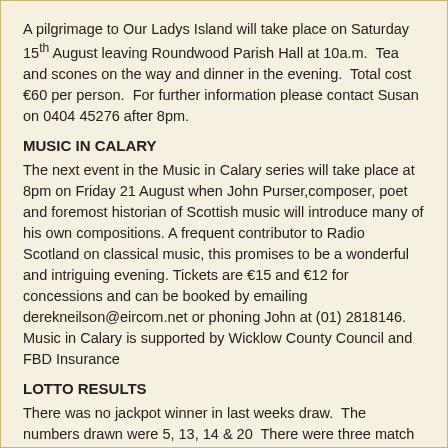A pilgrimage to Our Ladys Island will take place on Saturday 15th August leaving Roundwood Parish Hall at 10a.m.  Tea and scones on the way and dinner in the evening.  Total cost €60 per person.  For further information please contact Susan on 0404 45276 after 8pm.
MUSIC IN CALARY
The next event in the Music in Calary series will take place at 8pm on Friday 21 August when John Purser,composer, poet and foremost historian of Scottish music will introduce many of his own compositions. A frequent contributor to Radio Scotland on classical music, this promises to be a wonderful and intriguing evening. Tickets are €15 and €12 for concessions and can be booked by emailing derekneilson@eircom.net or phoning John at (01) 2818146.  Music in Calary is supported by Wicklow County Council and FBD Insurance
LOTTO RESULTS
There was no jackpot winner in last weeks draw.  The numbers drawn were 5, 13, 14 & 20  There were three match three winners, Mary Walsh, Bridget Lowe & M.A.M.  Next weeks jackpot will be €13,400
WHIST RESULTS